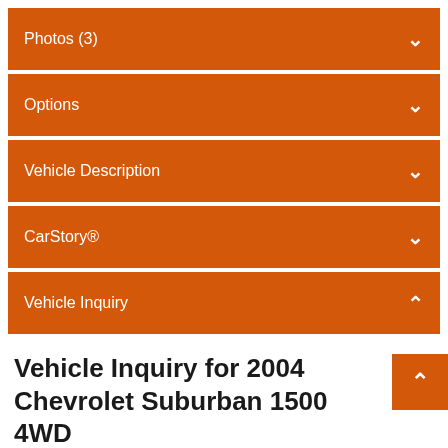Photos (3)
Options
Vehicle Description
CarStory®
Vehicle Inquiry
Vehicle Inquiry for 2004 Chevrolet Suburban 1500 4WD
First Name: *